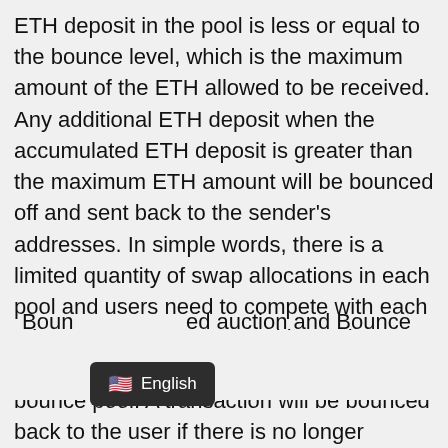ETH deposit in the pool is less or equal to the bounce level, which is the maximum amount of the ETH allowed to be received. Any additional ETH deposit when the accumulated ETH deposit is greater than the maximum ETH amount will be bounced off and sent back to the sender's addresses. In simple words, there is a limited quantity of swap allocations in each pool and users need to compete with each other to get swap opportunities. When a pool goes live, a user can send ETH to the bounce pool. A transaction will be bounced back to the user if there is no longer allocation in the pool. Bounce Token (BOT) is migrating to Auction (AUCTION). The migration from BOT token to AUCTION token marks a new journey of Bounce certified auction and Bounce certified auction BOT to AUCTION allows users to